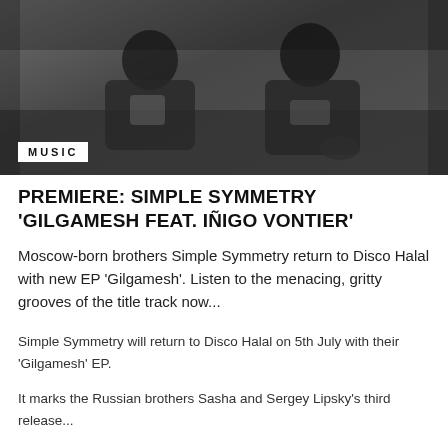[Figure (photo): Black and white photo of two men (Moscow-born brothers Simple Symmetry) lounging on a sofa, both wearing graphic t-shirts]
MUSIC
PREMIERE: SIMPLE SYMMETRY 'GILGAMESH FEAT. IÑIGO VONTIER'
Moscow-born brothers Simple Symmetry return to Disco Halal with new EP 'Gilgamesh'. Listen to the menacing, gritty grooves of the title track now...
Simple Symmetry will return to Disco Halal on 5th July with their 'Gilgamesh' EP.
It marks the Russian brothers Sasha and Sergey Lipsky's third release...